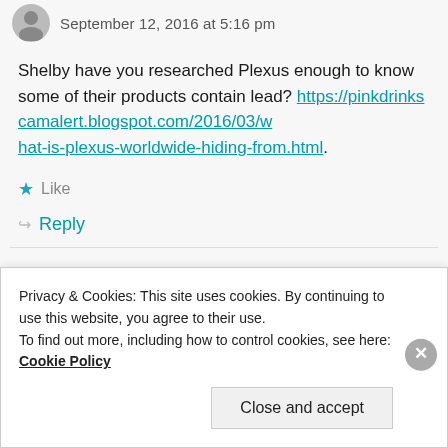September 12, 2016 at 5:16 pm
Shelby have you researched Plexus enough to know some of their products contain lead? https://pinkdrinkscamalert.blogspot.com/2016/03/what-is-plexus-worldwide-hiding-from.html.
Like
Reply
AMY DENSON
October 15, 2016 at 1:45 pm
Privacy & Cookies: This site uses cookies. By continuing to use this website, you agree to their use. To find out more, including how to control cookies, see here: Cookie Policy
Close and accept